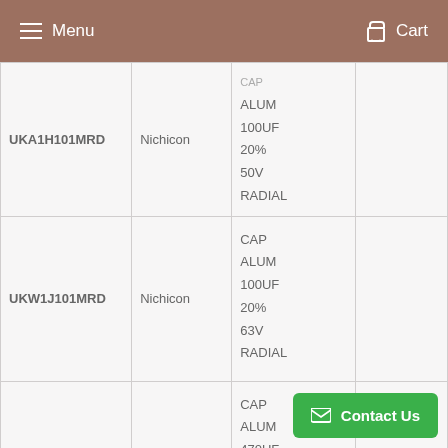Menu   Cart
| Part Number | Manufacturer | Description |  |
| --- | --- | --- | --- |
| UKA1H101MRD | Nichicon | CAP ALUM 100UF 20% 50V RADIAL |  |
| UKW1J101MRD | Nichicon | CAP ALUM 100UF 20% 63V RADIAL |  |
| UKT1E471MRD | Nichicon | CAP ALUM 470UF 20% |  |